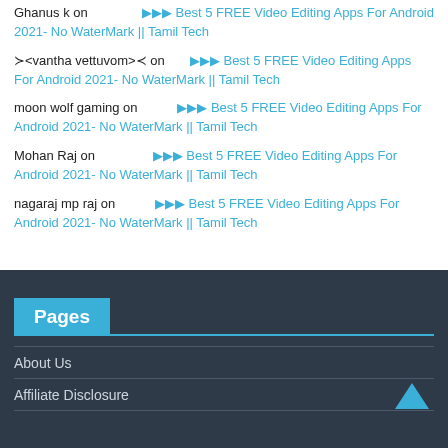Ghanus k on ▶▶▶ Best 5 FREE Video Editing Apps For Android 2021- No WaterMark || Tamil Tech
≻<vantha vettuvom>≺ on ▶▶▶ Best 5 FREE Video Editing Apps For Android 2021- No WaterMark || Tamil Tech
moon wolf gaming on ▶▶▶ Best 5 FREE Video Editing Apps For Android 2021- No WaterMark || Tamil Tech
Mohan Raj on ▶▶▶ Best 5 FREE Video Editing Apps For Android 2021- No WaterMark || Tamil Tech
nagaraj mp raj on ▶▶▶ Best 5 FREE Video Editing Apps For Android 2021- No WaterMark || Tamil Tech
Pages
About Us
Affiliate Disclosure